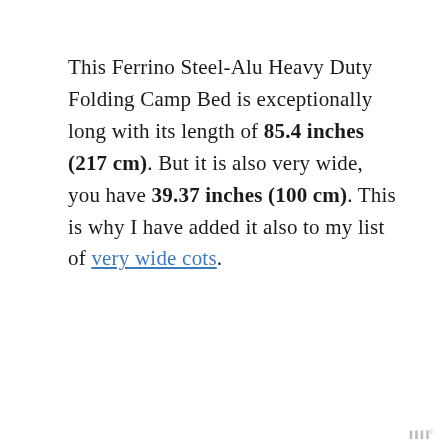This Ferrino Steel-Alu Heavy Duty Folding Camp Bed is exceptionally long with its length of 85.4 inches (217 cm). But it is also very wide, you have 39.37 inches (100 cm). This is why I have added it also to my list of very wide cots.